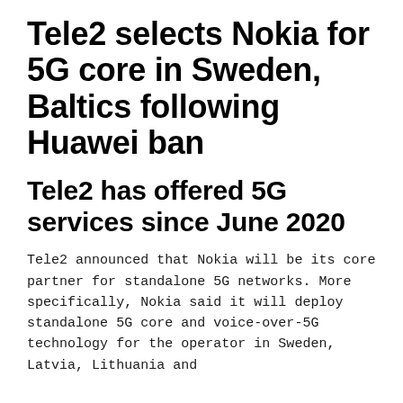Tele2 selects Nokia for 5G core in Sweden, Baltics following Huawei ban
Tele2 has offered 5G services since June 2020
Tele2 announced that Nokia will be its core partner for standalone 5G networks. More specifically, Nokia said it will deploy standalone 5G core and voice-over-5G technology for the operator in Sweden, Latvia, Lithuania and